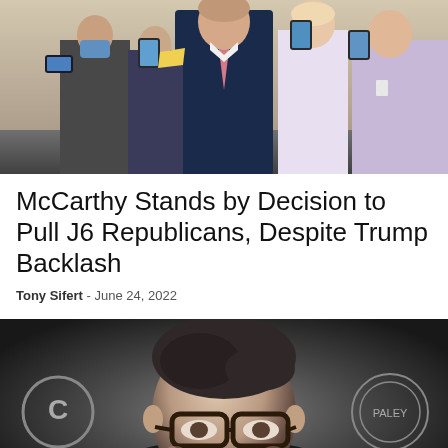[Figure (photo): Photo of a man in a dark blue suit with pink tie surrounded by reporters in a Capitol hallway]
McCarthy Stands by Decision to Pull J6 Republicans, Despite Trump Backlash
Tony Sifert - June 24, 2022
[Figure (photo): Photo of a smiling man with glasses and dark hair against a dark background with circular logos]